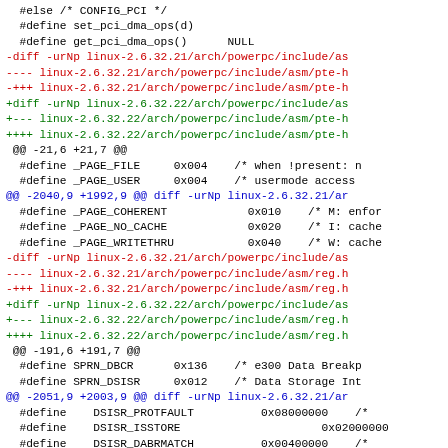#else /* CONFIG_PCI */
  #define set_pci_dma_ops(d)
  #define get_pci_dma_ops()      NULL
-diff -urNp linux-2.6.32.21/arch/powerpc/include/as
---- linux-2.6.32.21/arch/powerpc/include/asm/pte-h
-+++ linux-2.6.32.21/arch/powerpc/include/asm/pte-h
+diff -urNp linux-2.6.32.22/arch/powerpc/include/as
+--- linux-2.6.32.22/arch/powerpc/include/asm/pte-h
++++ linux-2.6.32.22/arch/powerpc/include/asm/pte-h
 @@ -21,6 +21,7 @@
   #define _PAGE_FILE      0x004    /* when !present: n
   #define _PAGE_USER      0x004    /* usermode access
@@ -2040,9 +1992,9 @@ diff -urNp linux-2.6.32.21/ar
   #define _PAGE_COHERENT            0x010    /* M: enfor
   #define _PAGE_NO_CACHE            0x020    /* I: cache
   #define _PAGE_WRITETHRU           0x040    /* W: cache
-diff -urNp linux-2.6.32.21/arch/powerpc/include/as
---- linux-2.6.32.21/arch/powerpc/include/asm/reg.h
-+++ linux-2.6.32.21/arch/powerpc/include/asm/reg.h
+diff -urNp linux-2.6.32.22/arch/powerpc/include/as
+--- linux-2.6.32.22/arch/powerpc/include/asm/reg.h
++++ linux-2.6.32.22/arch/powerpc/include/asm/reg.h
 @@ -191,6 +191,7 @@
   #define SPRN_DBCR      0x136    /* e300 Data Breakp
   #define SPRN_DSISR     0x012    /* Data Storage Int
@@ -2051,9 +2003,9 @@ diff -urNp linux-2.6.32.21/ar
   #define    DSISR_PROTFAULT          0x08000000    /*
   #define    DSISR_ISSTORE                         0x02000000
   #define    DSISR_DABRMATCH          0x00400000    /*
-diff -urNp linux-2.6.32.21/arch/powerpc/include/a